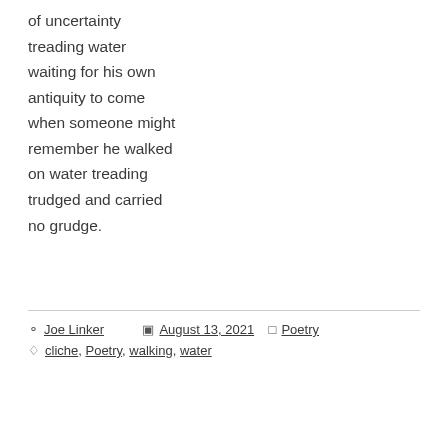of uncertainty
treading water
waiting for his own
antiquity to come
when someone might
remember he walked
on water treading
trudged and carried
no grudge.
Joe Linker   August 13, 2021   Poetry   cliche, Poetry, walking, water